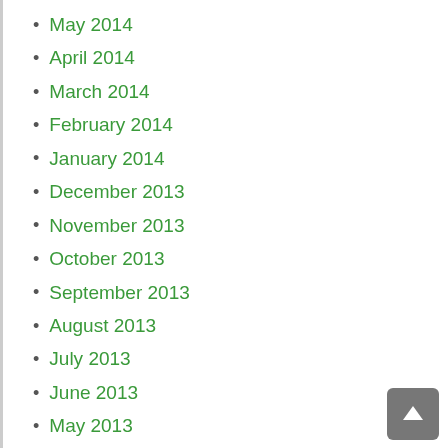May 2014
April 2014
March 2014
February 2014
January 2014
December 2013
November 2013
October 2013
September 2013
August 2013
July 2013
June 2013
May 2013
April 2013
March 2013
February 2013
January 2013
December 2012
November 2012
October 2012
September 2012